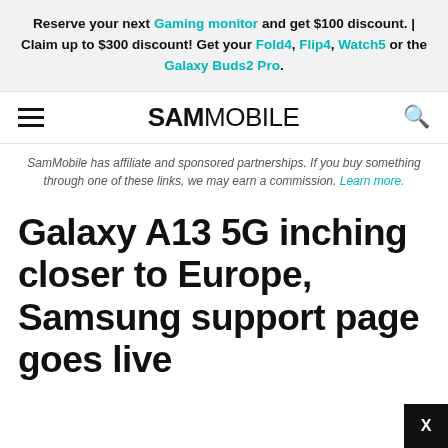Reserve your next Gaming monitor and get $100 discount. | Claim up to $300 discount! Get your Fold4, Flip4, Watch5 or the Galaxy Buds2 Pro.
SAMMOBILE
SamMobile has affiliate and sponsored partnerships. If you buy something through one of these links, we may earn a commission. Learn more.
Galaxy A13 5G inching closer to Europe, Samsung support page goes live